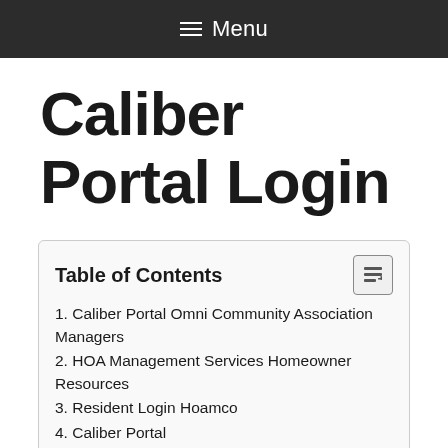☰ Menu
Caliber Portal Login
Table of Contents
1. Caliber Portal Omni Community Association Managers
2. HOA Management Services Homeowner Resources
3. Resident Login Hoamco
4. Caliber Portal
5. Homeowner Portal Registration High Sierra Management